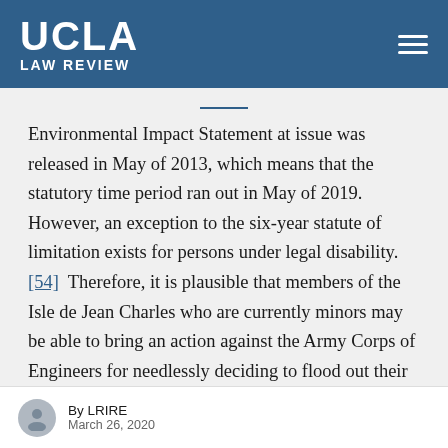UCLA LAW REVIEW
Environmental Impact Statement at issue was released in May of 2013, which means that the statutory time period ran out in May of 2019. However, an exception to the six-year statute of limitation exists for persons under legal disability. [54] Therefore, it is plausible that members of the Isle de Jean Charles who are currently minors may be able to bring an action against the Army Corps of Engineers for needlessly deciding to flood out their ancestral lands.[55] The youth
By LRIRE
March 26, 2020